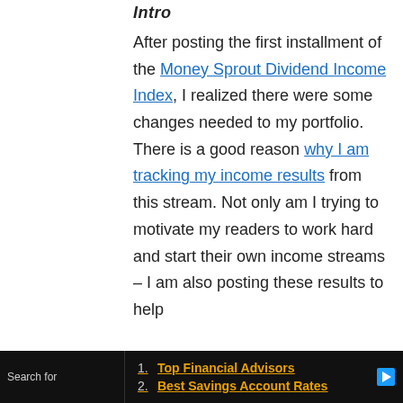Intro
After posting the first installment of the Money Sprout Dividend Income Index, I realized there were some changes needed to my portfolio. There is a good reason why I am tracking my income results from this stream. Not only am I trying to motivate my readers to work hard and start their own income streams – I am also posting these results to help
Search for
1. Top Financial Advisors
2. Best Savings Account Rates